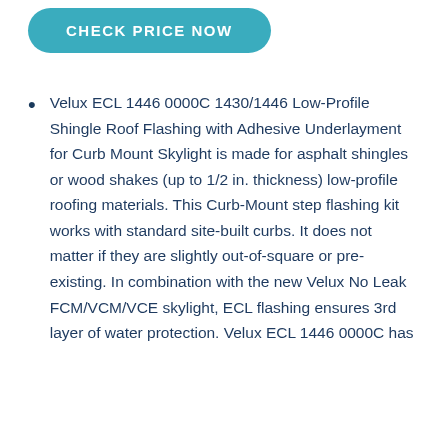[Figure (other): Teal/blue rounded rectangle button with text 'CHECK PRICE NOW' in white bold uppercase letters]
Velux ECL 1446 0000C 1430/1446 Low-Profile Shingle Roof Flashing with Adhesive Underlayment for Curb Mount Skylight is made for asphalt shingles or wood shakes (up to 1/2 in. thickness) low-profile roofing materials. This Curb-Mount step flashing kit works with standard site-built curbs. It does not matter if they are slightly out-of-square or pre-existing. In combination with the new Velux No Leak FCM/VCM/VCE skylight, ECL flashing ensures 3rd layer of water protection. Velux ECL 1446 0000C has